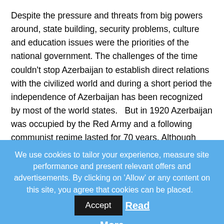Despite the pressure and threats from big powers around, state building, security problems, culture and education issues were the priorities of the national government. The challenges of the time couldn't stop Azerbaijan to establish direct relations with the civilized world and during a short period the independence of Azerbaijan has been recognized by most of the world states.   But in 1920 Azerbaijan was occupied by the Red Army and a following communist regime lasted for 70 years. Although Russian invasion put the end to the existence of the 1st Republic, the spirit of freedom and modernity couldn't be erased from the memory of
We use cookies to tailor your experience, measure site performance and present relevant offers and advertisements. By clicking on 'Allow' or any content on this site, you agree that cookies can be placed. Accept Read More